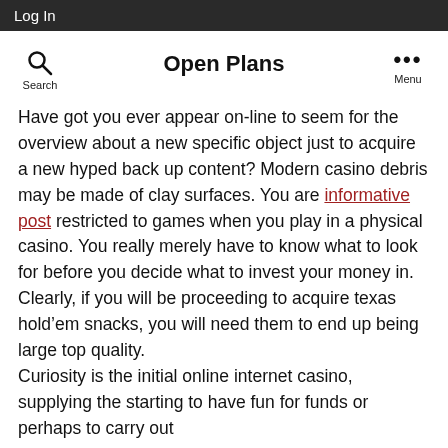Log In
Open Plans
Have got you ever appear on-line to seem for the overview about a new specific object just to acquire a new hyped back up content? Modern casino debris may be made of clay surfaces. You are informative post restricted to games when you play in a physical casino. You really merely have to know what to look for before you decide what to invest your money in. Clearly, if you will be proceeding to acquire texas hold’em snacks, you will need them to end up being large top quality.
Curiosity is the initial online internet casino, supplying the starting to have fun for funds or perhaps to carry out